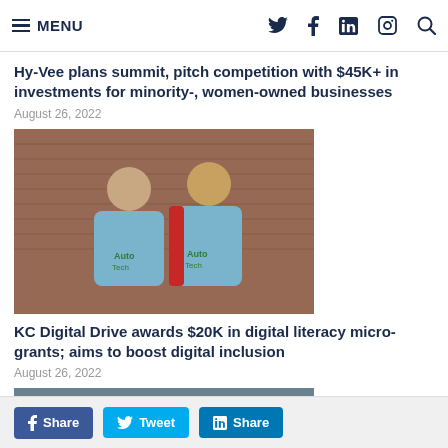MENU [navigation bar with social icons: Twitter, Facebook, LinkedIn, Instagram, Search]
Hy-Vee plans summit, pitch competition with $45K+ in investments for minority-, women-owned businesses
August 26, 2022
[Figure (photo): Two people wearing blue 'Auto Tech' branded t-shirts standing in front of a brick wall, smiling at the camera.]
KC Digital Drive awards $20K in digital literacy micro-grants; aims to boost digital inclusion
August 26, 2022
[Figure (photo): Two men smiling at the camera indoors, one wearing a dark shirt, one wearing a red shirt.]
Share  Tweet  Share